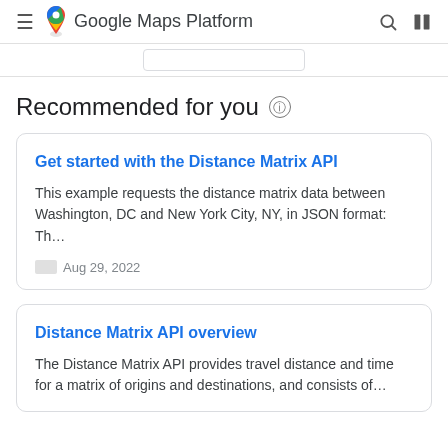Google Maps Platform
Recommended for you
Get started with the Distance Matrix API
This example requests the distance matrix data between Washington, DC and New York City, NY, in JSON format: Th…
Aug 29, 2022
Distance Matrix API overview
The Distance Matrix API provides travel distance and time for a matrix of origins and destinations, and consists of…